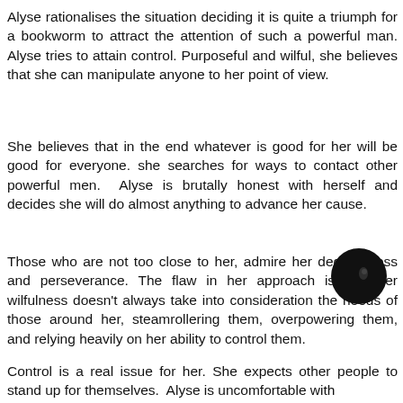Alyse rationalises the situation deciding it is quite a triumph for a bookworm to attract the attention of such a powerful man. Alyse tries to attain control. Purposeful and wilful, she believes that she can manipulate anyone to her point of view.
She believes that in the end whatever is good for her will be good for everyone. she searches for ways to contact other powerful men. Alyse is brutally honest with herself and decides she will do almost anything to advance her cause.
Those who are not too close to her, admire her decisiveness and perseverance. The flaw in her approach is that her wilfulness doesn't always take into consideration the needs of those around her, steamrollering them, overpowering them, and relying heavily on her ability to control them.
[Figure (other): A black circle with a small highlight, resembling a dark button or ball icon]
Control is a real issue for her. She expects other people to stand up for themselves. Alyse is uncomfortable with